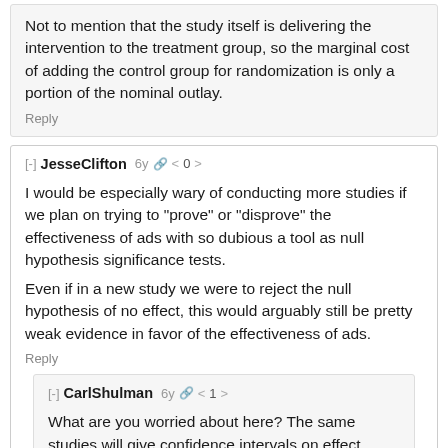Not to mention that the study itself is delivering the intervention to the treatment group, so the marginal cost of adding the control group for randomization is only a portion of the nominal outlay.
Reply
[-] JesseClifton 6y 🔗 < 0 >
I would be especially wary of conducting more studies if we plan on trying to "prove" or "disprove" the effectiveness of ads with so dubious a tool as null hypothesis significance tests.
Even if in a new study we were to reject the null hypothesis of no effect, this would arguably still be pretty weak evidence in favor of the effectiveness of ads.
Reply
[-] CarlShulman 6y 🔗 < 1 >
What are you worried about here? The same studies will give confidence intervals on effect sizes, which are